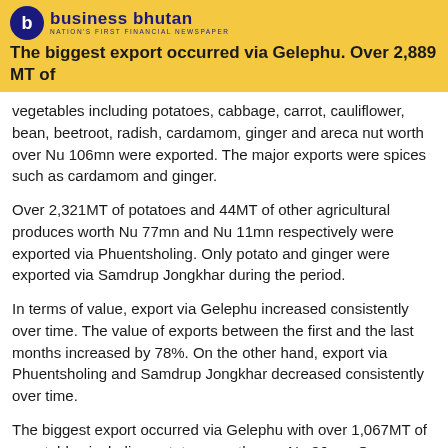business bhutan
NATION'S FIRST FINANCIAL NEWSPAPER
The biggest export occurred via Gelephu. Over 2,889 MT of vegetables including potatoes, cabbage, carrot, cauliflower, bean, beetroot, radish, cardamom, ginger and areca nut worth over Nu 106mn were exported. The major exports were spices such as cardamom and ginger.
Over 2,321MT of potatoes and 44MT of other agricultural produces worth Nu 77mn and Nu 11mn respectively were exported via Phuentsholing. Only potato and ginger were exported via Samdrup Jongkhar during the period.
In terms of value, export via Gelephu increased consistently over time. The value of exports between the first and the last months increased by 78%. On the other hand, export via Phuentsholing and Samdrup Jongkhar decreased consistently over time.
The biggest export occurred via Gelephu with over 1,067MT of vegetables including potatoes worth over Nu 36mn. Over